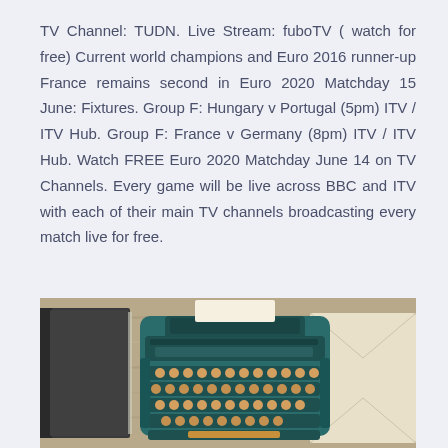TV Channel: TUDN. Live Stream: fuboTV ( watch for free) Current world champions and Euro 2016 runner-up France remains second in Euro 2020 Matchday 15 June: Fixtures. Group F: Hungary v Portugal (5pm) ITV / ITV Hub. Group F: France v Germany (8pm) ITV / ITV Hub. Watch FREE Euro 2020 Matchday June 14 on TV Channels. Every game will be live across BBC and ITV with each of their main TV channels broadcasting every match live for free.
[Figure (photo): A vintage teal typewriter on a wooden surface, flanked by a dark hardcover book on the left and a cream-colored envelope on the right.]